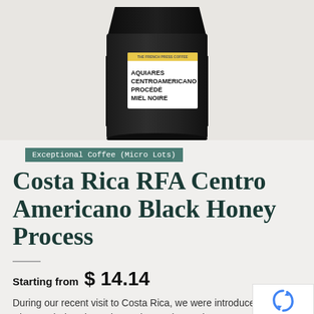[Figure (photo): Black coffee bag product photo showing a dark matte bag with a white label reading: AQUIARES CENTROAMERICANO PROCÉDÉ MIEL NOIRE, with a small colored header band]
Exceptional Coffee (Micro Lots)
Costa Rica RFA Centro Americano Black Honey Process
Starting from  $ 14.14
During our recent visit to Costa Rica, we were introduced to Diego Robelo, who welcomed us to the Aquiares Estate. This